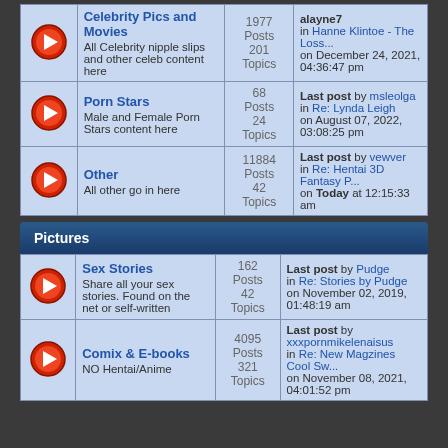|  | Forum | Stats | Last Post |
| --- | --- | --- | --- |
| → | Celebrity Pics and Movies
All Celebrity nipple slips and other celeb content here | 1977 Posts
201 Topics | Last post by alayne7
in Hanne Klintoe - The Loss...
on December 24, 2021, 04:36:47 pm |
| → | Porn Stars
Male and Female Porn Stars content here | 68 Posts
24 Topics | Last post by msleolga
in Re: Lynda Leigh
on August 07, 2022, 03:08:25 pm |
| → | Other
All other go in here | 11884 Posts
42 Topics | Last post by vewver
in Re: Hentai 3D Fantasy P...
on Today at 12:15:33 am |
Pictures
|  | Forum | Stats | Last Post |
| --- | --- | --- | --- |
| → | Sex Stories
Share all your sex stories. Found on the net or self-written | 162 Posts
42 Topics | Last post by Pudge
in Re: Stories by Pudge
on November 02, 2019, 01:48:19 am |
| → | Comix & E-books
NO Hentai/Anime | 4095 Posts
321 Topics | Last post by xxxpornmikelenaisus
in Re: New Magzines Cool Sw...
on November 08, 2021, 04:01:52 pm |